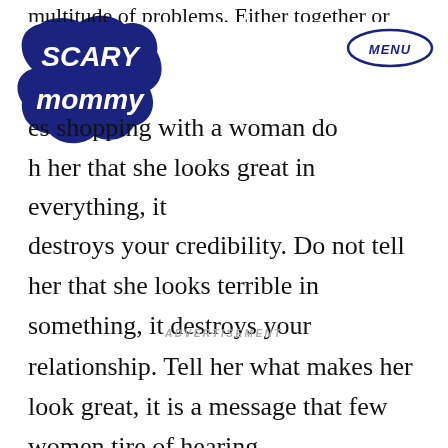Scary Mommy [logo] | MENU
multitude of problems. Either together or apart. ...es shopping with a woman do ...h her that she looks great in everything, it destroys your credibility. Do not tell her that she looks terrible in something, it destroys your relationship. Tell her what makes her look great, it is a message that few women tire of hearing.
ADVERTISEMENT